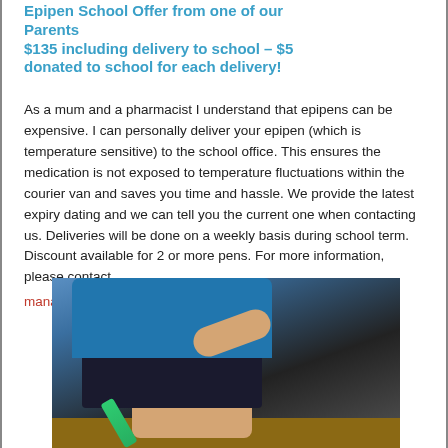Epipen School Offer from one of our Parents
$135 including delivery to school – $5 donated to school for each delivery!
As a mum and a pharmacist I understand that epipens can be expensive. I can personally deliver your epipen (which is temperature sensitive) to the school office. This ensures the medication is not exposed to temperature fluctuations within the courier van and saves you time and hassle. We provide the latest expiry dating and we can tell you the current one when contacting us. Deliveries will be done on a weekly basis during school term. Discount available for 2 or more pens. For more information, please contact
manager.pharmacynz@gmail.com
[Figure (photo): Photo of a child wearing a blue shirt and dark shorts, holding an epipen, sitting on a wooden surface]